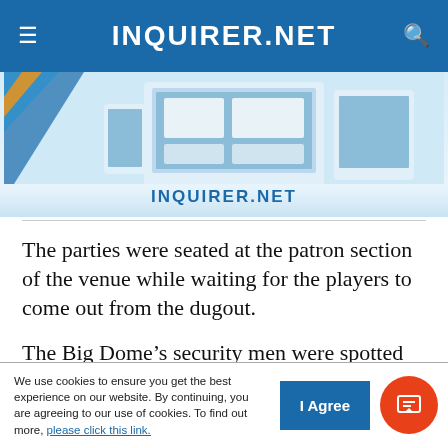INQUIRER.NET
[Figure (screenshot): Inquirer.net advertisement banner showing digital devices and the INQUIRER.NET logo]
The parties were seated at the patron section of the venue while waiting for the players to come out from the dugout.
The Big Dome’s security men were spotted trying to pacify the warring sides before the players helped out in escorting their partners to the exit.
We use cookies to ensure you get the best experience on our website. By continuing, you are agreeing to our use of cookies. To find out more, please click this link.